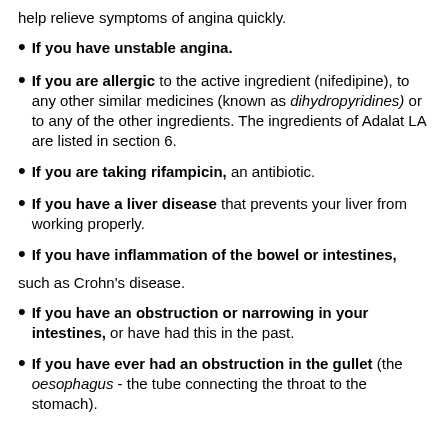help relieve symptoms of angina quickly.
If you have unstable angina.
If you are allergic to the active ingredient (nifedipine), to any other similar medicines (known as dihydropyridines) or to any of the other ingredients. The ingredients of Adalat LA are listed in section 6.
If you are taking rifampicin, an antibiotic.
If you have a liver disease that prevents your liver from working properly.
If you have inflammation of the bowel or intestines,
such as Crohn’s disease.
If you have an obstruction or narrowing in your intestines, or have had this in the past.
If you have ever had an obstruction in the gullet (the oesophagus - the tube connecting the throat to the stomach).